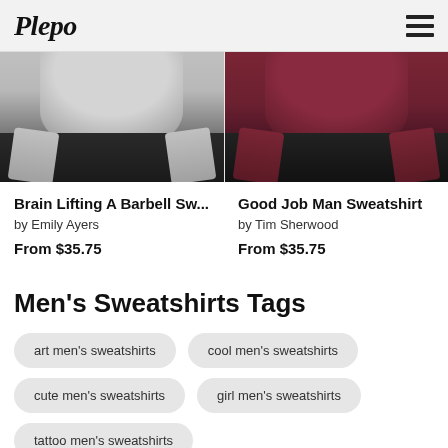Plepo
[Figure (photo): Two sweatshirt product images side by side: left is a grey crewneck sweatshirt torso, right is a dark maroon crewneck sweatshirt torso]
Brain Lifting A Barbell Sw...
by Emily Ayers
From $35.75
Good Job Man Sweatshirt
by Tim Sherwood
From $35.75
Men's Sweatshirts Tags
art men's sweatshirts
cool men's sweatshirts
cute men's sweatshirts
girl men's sweatshirts
tattoo men's sweatshirts